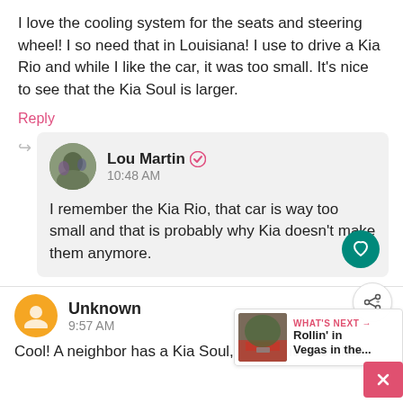I love the cooling system for the seats and steering wheel! I so need that in Louisiana! I use to drive a Kia Rio and while I like the car, it was too small. It's nice to see that the Kia Soul is larger.
Reply
Lou Martin 10:48 AM
I remember the Kia Rio, that car is way too small and that is probably why Kia doesn't make them anymore.
Unknown 9:57 AM
Cool! A neighbor has a Kia Soul, though it's not that
WHAT'S NEXT → Rollin' in Vegas in the...